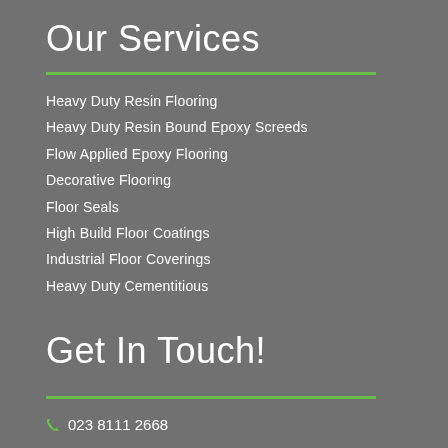Our Services
Heavy Duty Resin Flooring
Heavy Duty Resin Bound Epoxy Screeds
Flow Applied Epoxy Flooring
Decorative Flooring
Floor Seals
High Build Floor Coatings
Industrial Floor Coverings
Heavy Duty Cementitious
Get In Touch!
023 8111 2668